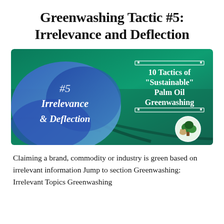Greenwashing Tactic #5: Irrelevance and Deflection
[Figure (illustration): Infographic image showing '#5 Irrelevance & Deflection' on the left side with blue-green blob shapes, and '10 Tactics of "Sustainable" Palm Oil Greenwashing' on the right side on a teal/green aerial background with a circular logo in the bottom right corner.]
Claiming a brand, commodity or industry is green based on irrelevant information Jump to section Greenwashing: Irrelevant Topics Greenwashing